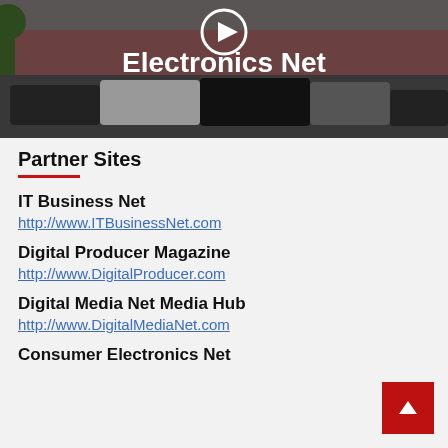[Figure (screenshot): Video thumbnail showing a parking lot scene with the text 'Electronics Net' overlaid in white bold font and a circular play button icon at the top center.]
Partner Sites
IT Business Net
http://www.ITBusinessNet.com
Digital Producer Magazine
http://www.DigitalProducer.com
Digital Media Net Media Hub
http://www.DigitalMediaNet.com
Consumer Electronics Net